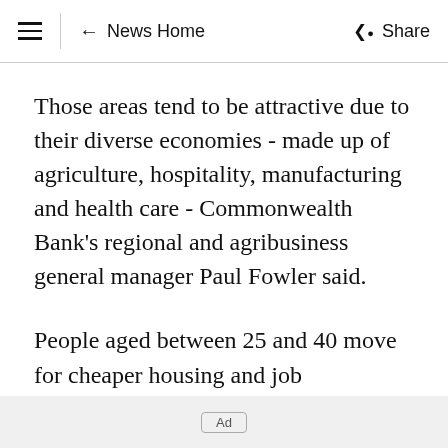≡  ← News Home   Share
Those areas tend to be attractive due to their diverse economies - made up of agriculture, hospitality, manufacturing and health care - Commonwealth Bank's regional and agribusiness general manager Paul Fowler said.
People aged between 25 and 40 move for cheaper housing and job opportunities in the regions, where there are 85,000 vacancies, he
Ad